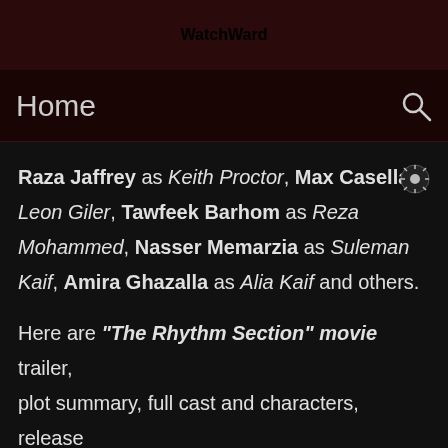WatchWard
Home
Raza Jaffrey as Keith Proctor, Max Casella as Leon Giler, Tawfeek Barhom as Reza Mohammed, Nasser Memarzia as Suleman Kaif, Amira Ghazalla as Alia Kaif and others.
Here are "The Rhythm Section" movie trailer, plot summary, full cast and characters, release date, streaming services and everything we know so far.